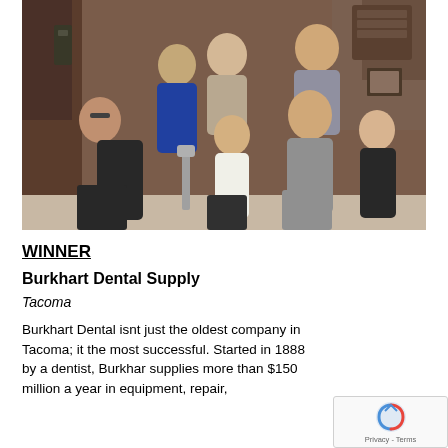[Figure (photo): Group photo of seven people posing in what appears to be a dental office. Two older adults standing in the back row (man in beige sweater, woman in blue blazer), one younger man in plaid shirt standing at back right. Three women seated in the middle row including one in a gray blazer. A young girl in a white sweater seated in the center front.]
WINNER
Burkhart Dental Supply
Tacoma
Burkhart Dental isnt just the oldest company in Tacoma; it the most successful. Started in 1888 by a dentist, Burkhar supplies more than $150 million a year in equipment, repair,